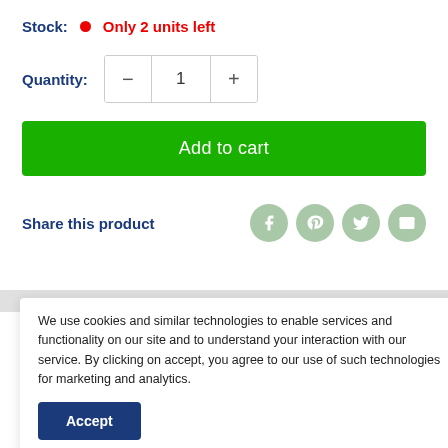Stock: Only 2 units left
Quantity: 1
Add to cart
Share this product
We use cookies and similar technologies to enable services and functionality on our site and to understand your interaction with our service. By clicking on accept, you agree to our use of such technologies for marketing and analytics.
Accept
Cottoldat oatmeat moisturises for up to 24 hours, forming